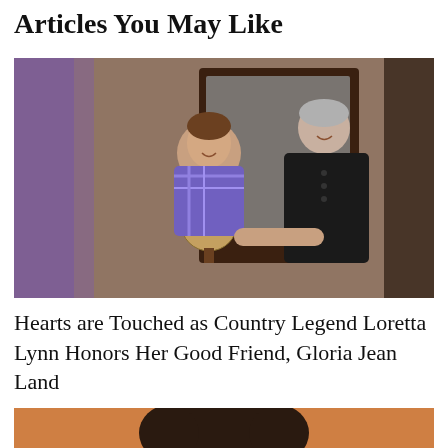Articles You May Like
[Figure (photo): Two older women smiling and shaking hands warmly indoors; one seated in purple plaid top, other standing in black top; vintage china cabinet with globe visible in background]
Hearts are Touched as Country Legend Loretta Lynn Honors Her Good Friend, Gloria Jean Land
[Figure (photo): Partial photo visible at bottom of page showing person with dark curly hair against orange/warm background]